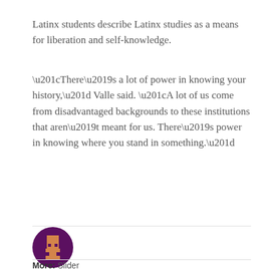Latinx students describe Latinx studies as a means for liberation and self-knowledge.
“There’s a lot of power in knowing your history,” Valle said. “A lot of us come from disadvantaged backgrounds to these institutions that aren’t meant for us. There’s power in knowing where you stand in something.”
[Figure (illustration): Circular avatar icon with dark purple background showing a pixel-art style figure in orange/tan colors, representing a user profile image for Cassidy Jensen]
Cassidy Jensen
More: Slider